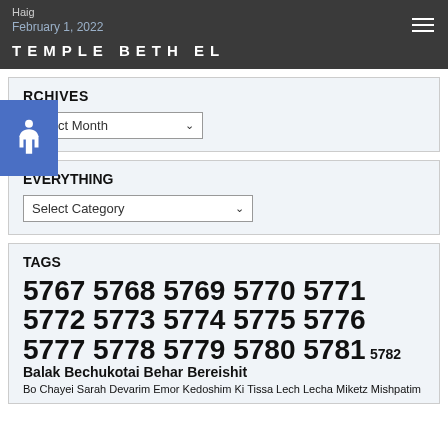Haig
February 1, 2022
TEMPLE BETH EL
ARCHIVES
Select Month
EVERYTHING
Select Category
TAGS
5767 5768 5769 5770 5771 5772 5773 5774 5775 5776 5777 5778 5779 5780 5781 5782 Balak Bechukotai Behar Bereishit Bo Chayei Sarah Devarim Emor Kedoshim Ki Tissa Lech Lecha Miketz Mishpatim